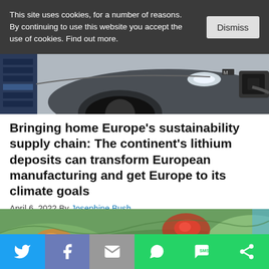This site uses cookies, for a number of reasons. By continuing to use this website you accept the use of cookies. Find out more.
[Figure (photo): Close-up photo of an electric car being charged, showing the front wheel, headlight, and charging port with a cable inserted. A charging station is visible on the left.]
Bringing home Europe’s sustainability supply chain: The continent’s lithium deposits can transform European manufacturing and get Europe to its climate goals
April 6, 2022 By Josephine Bush
[Figure (map): Aerial/satellite map view showing terrain with green hills and mountains. There are two highlighted areas showing heat-map style coloring: one on the left in orange/yellow tones, and one on the right in red/orange, likely indicating lithium deposit locations in Europe.]
[Figure (infographic): Social media sharing bar with buttons for Twitter (blue), Facebook (blue-gray), Email (gray), WhatsApp (green), SMS (green), and another sharing option (green).]